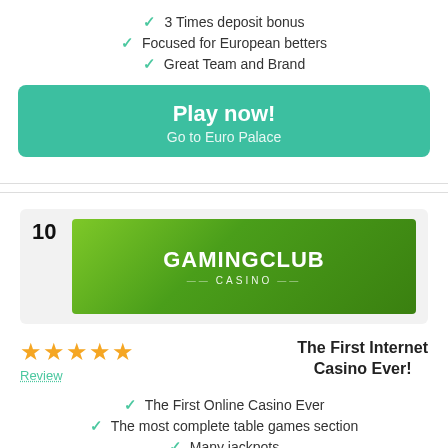✓ 3 Times deposit bonus
✓ Focused for European betters
✓ Great Team and Brand
Play now! Go to Euro Palace
10
[Figure (logo): GamingClub Casino logo — white text on green gradient background]
[Figure (other): 5 gold stars rating]
Review
The First Internet Casino Ever!
✓ The First Online Casino Ever
✓ The most complete table games section
✓ Many jackpots
Play now!